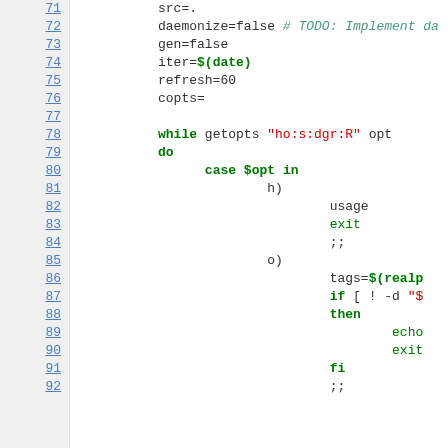[Figure (screenshot): Source code viewer showing shell script lines 71-92 with line numbers on the left and syntax-highlighted code on the right. Keywords in bold green, strings in red, comments in italic green/teal.]